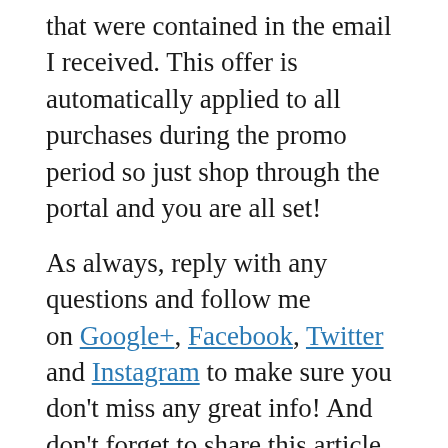that were contained in the email I received. This offer is automatically applied to all purchases during the promo period so just shop through the portal and you are all set!
As always, reply with any questions and follow me on Google+, Facebook, Twitter and Instagram to make sure you don't miss any great info!  And don't forget to share this article with anyone who might be interested using the handy social share buttons right below this post!
“*During the “Holiday Early Access” bonus campaign, which runs from November 6, 2015 through November 24, 2015 at 11:59:59 pm